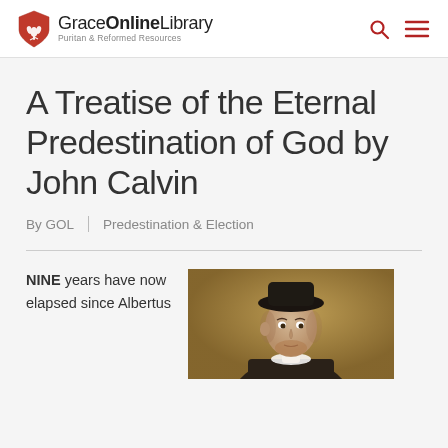GraceOnlineLibrary — Puritan & Reformed Resources
A Treatise of the Eternal Predestination of God by John Calvin
By GOL | Predestination & Election
NINE years have now elapsed since Albertus
[Figure (photo): Portrait painting of John Calvin, a man wearing a dark hat, depicted from the shoulders up against a golden-brown background.]